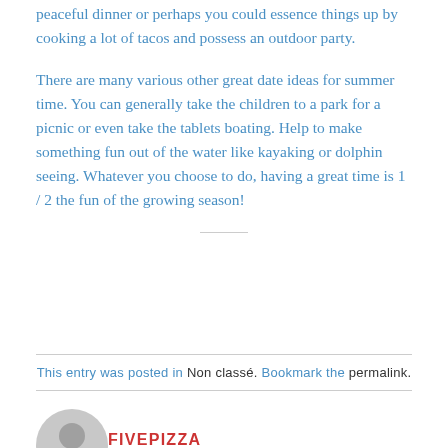peaceful dinner or perhaps you could essence things up by cooking a lot of tacos and possess an outdoor party.
There are many various other great date ideas for summer time. You can generally take the children to a park for a picnic or even take the tablets boating. Help to make something fun out of the water like kayaking or dolphin seeing. Whatever you choose to do, having a great time is 1 / 2 the fun of the growing season!
This entry was posted in Non classé. Bookmark the permalink.
FIVEPIZZA